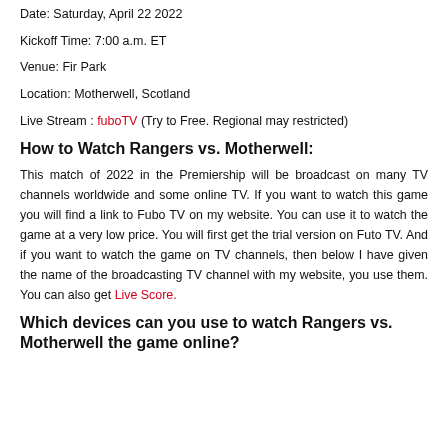Date: Saturday, April 22 2022
Kickoff Time: 7:00 a.m. ET
Venue: Fir Park
Location: Motherwell, Scotland
Live Stream : fuboTV (Try to Free. Regional may restricted)
How to Watch Rangers vs. Motherwell:
This match of 2022 in the Premiership will be broadcast on many TV channels worldwide and some online TV. If you want to watch this game you will find a link to Fubo TV on my website. You can use it to watch the game at a very low price. You will first get the trial version on Futo TV. And if you want to watch the game on TV channels, then below I have given the name of the broadcasting TV channel with my website, you use them. You can also get Live Score.
Which devices can you use to watch Rangers vs. Motherwell the game online?